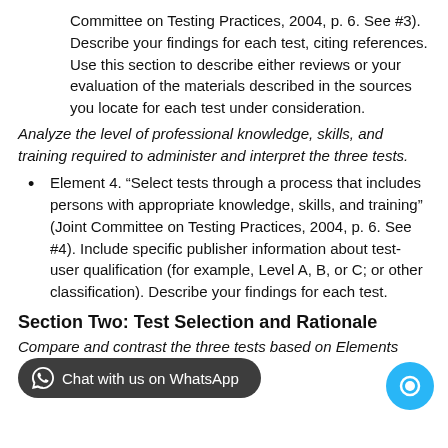Committee on Testing Practices, 2004, p. 6. See #3). Describe your findings for each test, citing references. Use this section to describe either reviews or your evaluation of the materials described in the sources you locate for each test under consideration.
Analyze the level of professional knowledge, skills, and training required to administer and interpret the three tests.
Element 4. “Select tests through a process that includes persons with appropriate knowledge, skills, and training” (Joint Committee on Testing Practices, 2004, p. 6. See #4). Include specific publisher information about test-user qualification (for example, Level A, B, or C; or other classification). Describe your findings for each test.
Section Two: Test Selection and Rationale
Compare and contrast the three tests based on Elements